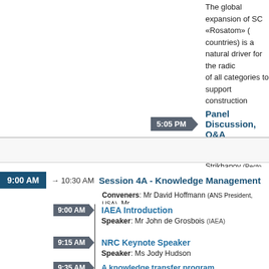The global expansion of SC «Rosatom» (countries) is a natural driver for the radical of all categories to support construction considering its close co-operation with th
Speaker: Mr Mikhail N. Strikhanov (Recto
5:05 PM Panel Discussion, Q&A
9:00 AM → 10:30 AM Session 4A - Knowledge Management
Conveners: Mr David Hoffmann (ANS President, USA), Mr
9:00 AM IAEA Introduction
Speaker: Mr John de Grosbois (IAEA)
9:15 AM NRC Keynote Speaker
Speaker: Ms Jody Hudson
9:35 AM A knowledge transfer program...